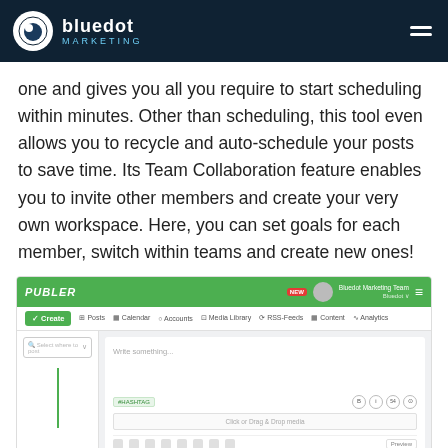bluedot Marketing
one and gives you all you require to start scheduling within minutes. Other than scheduling, this tool even allows you to recycle and auto-schedule your posts to save time. Its Team Collaboration feature enables you to invite other members and create your very own workspace. Here, you can set goals for each member, switch within teams and create new ones!
[Figure (screenshot): Screenshot of the Publer social media scheduling tool interface, showing the main dashboard with navigation bar (Create, Posts, Calendar, Accounts, Media Library, RSS-Feeds, Content, Analytics), a post creation panel with a text input area, hashtag badge, drag & drop media area, toolbar, and action buttons (Draft, Schedule, Post).]